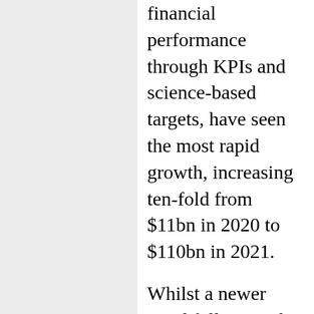financial performance through KPIs and science-based targets, have seen the most rapid growth, increasing ten-fold from $11bn in 2020 to $110bn in 2021.
Whilst a newer trend following the first ever issuance in 2019, SLBs make an attractive choice as companies become subject to growing reporting and due-diligence obligations on a wide range of ESG issues with pressure from